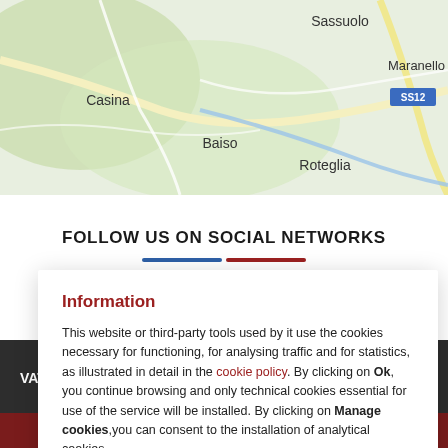[Figure (map): Google Maps showing area around Maranello, Italy with towns Sassuolo, Casina, Baiso, Roteglia labeled. Road SS12 visible near Maranello.]
FOLLOW US ON SOCIAL NETWORKS
Information

This website or third-party tools used by it use the cookies necessary for functioning, for analysing traffic and for statistics, as illustrated in detail in the cookie policy. By clicking on Ok, you continue browsing and only technical cookies essential for use of the service will be installed. By clicking on Manage cookies,you can consent to the installation of analytical cookies
VAT n.: IT007532...
Policy customers suppliers